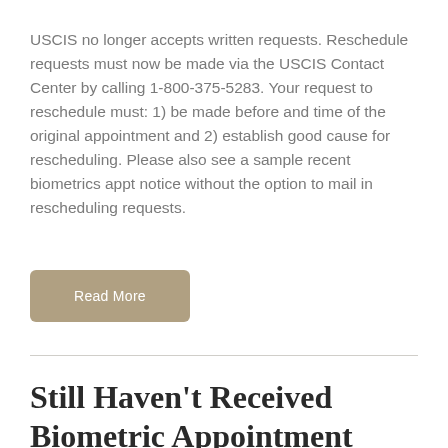USCIS no longer accepts written requests. Reschedule requests must now be made via the USCIS Contact Center by calling 1-800-375-5283. Your request to reschedule must: 1) be made before and time of the original appointment and 2) establish good cause for rescheduling. Please also see a sample recent biometrics appt notice without the option to mail in rescheduling requests.
Read More
Still Haven't Received Biometric Appointment